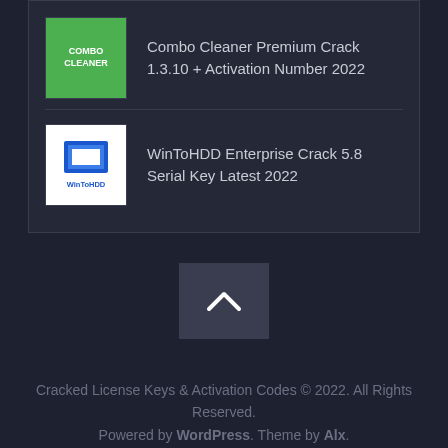Combo Cleaner Premium Crack 1.3.10 + Activation Number 2022
WinToHDD Enterprise Crack 5.8 Serial Key Latest 2022
[Figure (other): Back to top chevron button]
Cracked License Keys & Activation Codes © 2022. All Rights Reserved. Powered by WordPress. Theme by Alx.